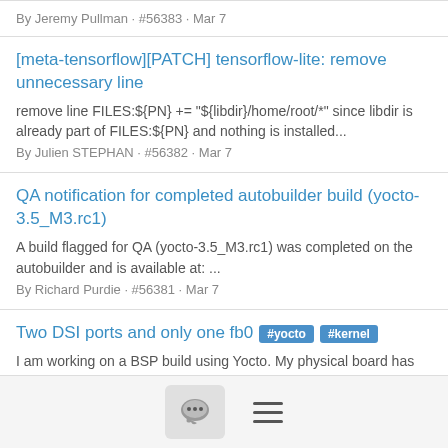By Jeremy Pullman · #56383 · Mar 7
[meta-tensorflow][PATCH] tensorflow-lite: remove unnecessary line
remove line FILES:${PN} += "${libdir}/home/root/*" since libdir is already part of FILES:${PN} and nothing is installed...
By Julien STEPHAN · #56382 · Mar 7
QA notification for completed autobuilder build (yocto-3.5_M3.rc1)
A build flagged for QA (yocto-3.5_M3.rc1) was completed on the autobuilder and is available at: ...
By Richard Purdie · #56381 · Mar 7
Two DSI ports and only one fb0 #yocto #kernel
I am working on a BSP build using Yocto. My physical board has two DSI ports to which panels are connected. Both are 4-lane...
By usa_butt@... · #56380 · Mar 7
[meta-cal][PATCH] libsocket6-perl: set precise